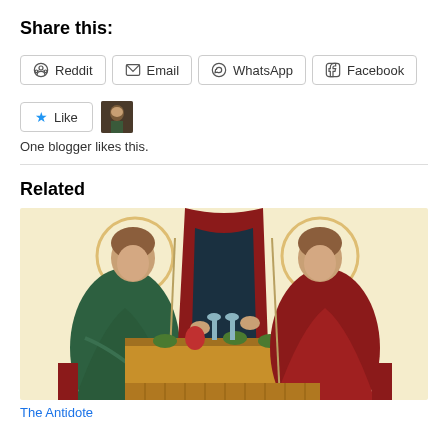Share this:
Reddit  Email  WhatsApp  Facebook
Like  One blogger likes this.
Related
[Figure (illustration): Byzantine icon painting showing three figures — two angels with halos seated at a table set with food and vessels, and a central figure in red and green robes standing behind the table. The style is traditional Eastern Orthodox iconography.]
The Antidote